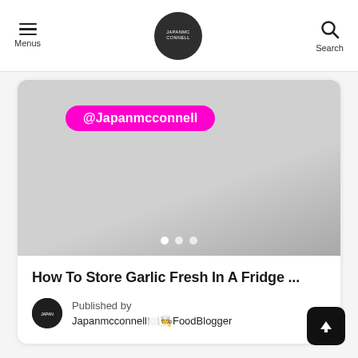Menus | Japanmcconnell | Search
[Figure (photo): Blurred close-up photo with a magenta pill-shaped tag reading @Japanmcconnell, with three dot indicators at the bottom of the image slider]
How To Store Garlic Fresh In A Fridge ...
Published by Japanmcconnell🍽️🧑‍🍳FoodBlogger